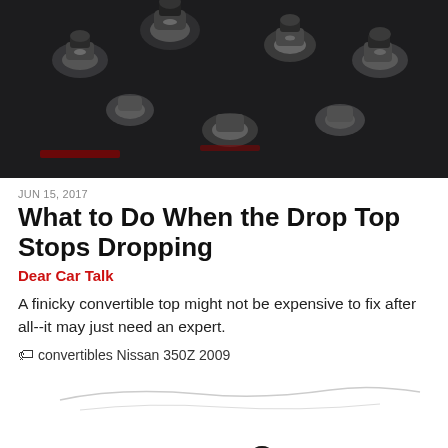[Figure (photo): Close-up photo of metal socket wrench tools/sockets, dark background]
JUN 15, 2017
What to Do When the Drop Top Stops Dropping
Dear Car Talk
A finicky convertible top might not be expensive to fix after all--it may just need an expert.
🏷 convertibles Nissan 350Z 2009
[Figure (illustration): Vintage illustration of a blue convertible car with a group of people riding in it]